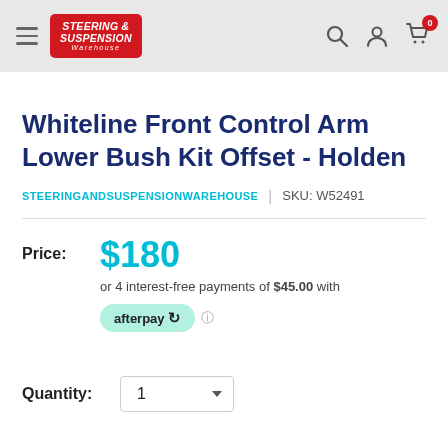[Figure (logo): Steering & Suspension Warehouse website header with hamburger menu, red logo, search icon, account icon, and cart icon with badge showing 0]
Whiteline Front Control Arm Lower Bush Kit Offset - Holden
STEERINGANDSUSPENSIONWAREHOUSE | SKU: W52491
Price: $180 or 4 interest-free payments of $45.00 with afterpay
Quantity: 1